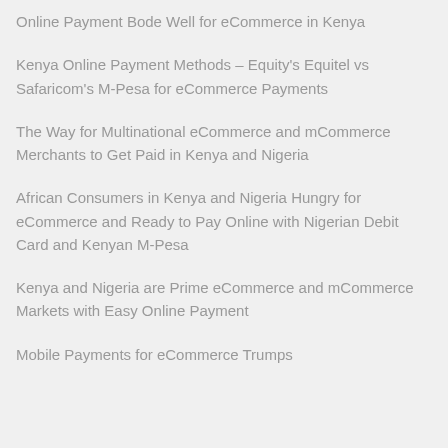Online Payment Bode Well for eCommerce in Kenya
Kenya Online Payment Methods – Equity's Equitel vs Safaricom's M-Pesa for eCommerce Payments
The Way for Multinational eCommerce and mCommerce Merchants to Get Paid in Kenya and Nigeria
African Consumers in Kenya and Nigeria Hungry for eCommerce and Ready to Pay Online with Nigerian Debit Card and Kenyan M-Pesa
Kenya and Nigeria are Prime eCommerce and mCommerce Markets with Easy Online Payment
Mobile Payments for eCommerce Trumps